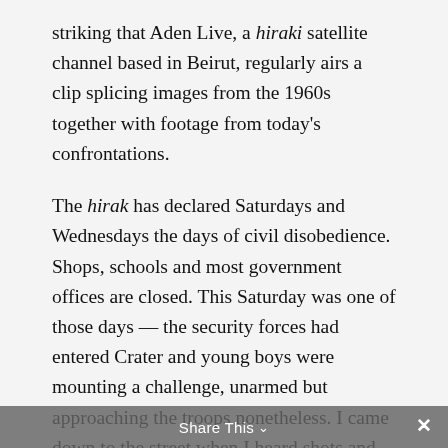striking that Aden Live, a hiraki satellite channel based in Beirut, regularly airs a clip splicing images from the 1960s together with footage from today's confrontations.
The hirak has declared Saturdays and Wednesdays the days of civil disobedience. Shops, schools and most government offices are closed. This Saturday was one of those days — the security forces had entered Crater and young boys were mounting a challenge, unarmed but approaching the troops nonetheless. I came down to the street when I heard shots and smelled tear gas from my balcony facing the slopes of Mount Shamsan. Khaled Aden and his comrades were patrolling
Share This ∨  ✕